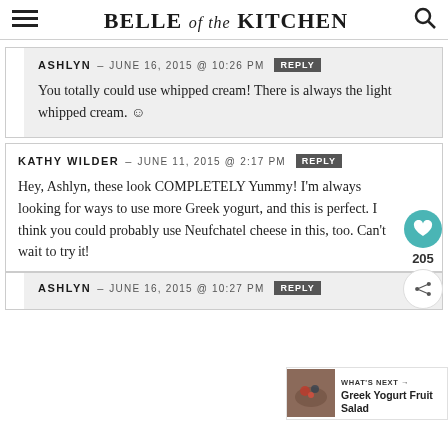BELLE of the KITCHEN
ASHLYN — JUNE 16, 2015 @ 10:26 PM REPLY
You totally could use whipped cream! There is always the light whipped cream. :)
KATHY WILDER — JUNE 11, 2015 @ 2:17 PM REPLY
Hey, Ashlyn, these look COMPLETELY Yummy! I'm always looking for ways to use more Greek yogurt, and this is perfect. I think you could probably use Neufchatel cheese in this, too. Can't wait to try it!
ASHLYN — JUNE 16, 2015 @ 10:27 PM REPLY